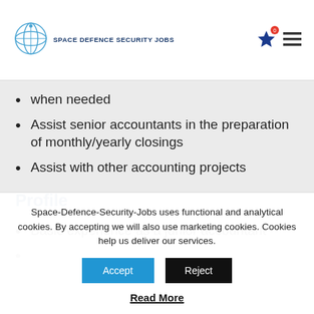SPACE DEFENCE SECURITY JOBS
when needed
Assist senior accountants in the preparation of monthly/yearly closings
Assist with other accounting projects
Profile
Basic experience as a junior accountant
Space-Defence-Security-Jobs uses functional and analytical cookies. By accepting we will also use marketing cookies. Cookies help us deliver our services.
Accept  Reject
Read More